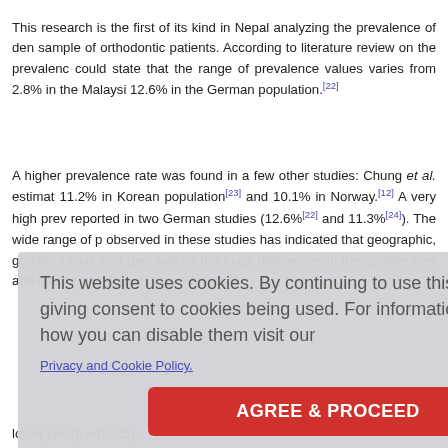This research is the first of its kind in Nepal analyzing the prevalence of den… sample of orthodontic patients. According to literature review on the prevalence… could state that the range of prevalence values varies from 2.8% in the Malaysia… 12.6% in the German population.[22]
A higher prevalence rate was found in a few other studies: Chung et al. estimate… 11.2% in Korean population[23] and 10.1% in Norway.[12] A very high prev… reported in two German studies (12.6%[22] and 11.3%[24]). The wide range of p… observed in these studies has indicated that geographic, gender, racial, and gen… well as the huge differences in the sample size and criteria of selection play a fu…
…make the d…
…s), the maxi… (19.44%), r… ry second p… lar were ran… ar first mola…
…revalence o… 0), and in b… lower jaw (p = 0.075).
This website uses cookies. By continuing to use this website you are giving consent to cookies being used. For information on cookies and how you can disable them visit our Privacy and Cookie Policy.
AGREE & PROCEED